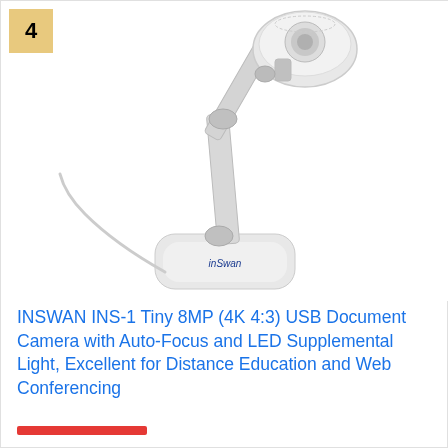4
[Figure (photo): White INSWAN INS-1 document camera with articulating arm and circular camera head on a white rounded base, shown on white background]
INSWAN INS-1 Tiny 8MP (4K 4:3) USB Document Camera with Auto-Focus and LED Supplemental Light, Excellent for Distance Education and Web Conferencing